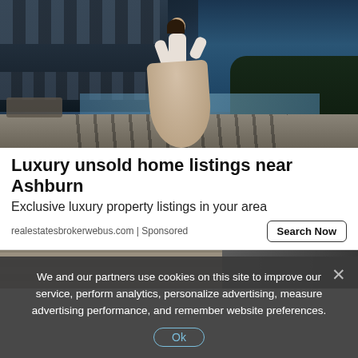[Figure (photo): Luxury modern home with infinity pool, woman in flowing dress standing on terrace, dark blue sky, trees in background]
Luxury unsold home listings near Ashburn
Exclusive luxury property listings in your area
realestatesbrokerwebus.com | Sponsored
[Figure (photo): Partial view of a stone wall and outdoor area, partially obscured by cookie consent overlay]
We and our partners use cookies on this site to improve our service, perform analytics, personalize advertising, measure advertising performance, and remember website preferences.
Ok